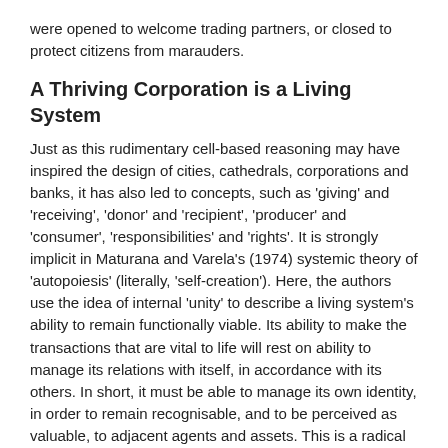were opened to welcome trading partners, or closed to protect citizens from marauders.
A Thriving Corporation is a Living System
Just as this rudimentary cell-based reasoning may have inspired the design of cities, cathedrals, corporations and banks, it has also led to concepts, such as 'giving' and 'receiving', 'donor' and 'recipient', 'producer' and 'consumer', 'responsibilities' and 'rights'. It is strongly implicit in Maturana and Varela's (1974) systemic theory of 'autopoiesis' (literally, 'self-creation'). Here, the authors use the idea of internal 'unity' to describe a living system's ability to remain functionally viable. Its ability to make the transactions that are vital to life will rest on ability to manage its relations with itself, in accordance with its others. In short, it must be able to manage its own identity, in order to remain recognisable, and to be perceived as valuable, to adjacent agents and assets. This is a radical idea that applies to biological organisms and human organisations alike. It led Maturana and Varela to make the startling assertion that the only cause of death in a living system would be its failure to maintain a viable 'relationship' between its 'inner' and its 'outer'